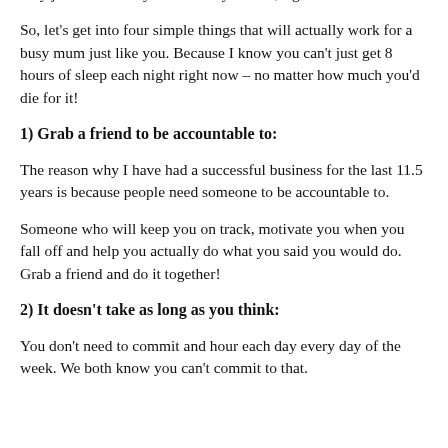But that's the same stuff you'll find inside some Body and Soul magazine. Which may work great if you're 25, single and with an easy job. Not exactly doable for your life, right?
So, let's get into four simple things that will actually work for a busy mum just like you. Because I know you can't just get 8 hours of sleep each night right now – no matter how much you'd die for it!
1) Grab a friend to be accountable to:
The reason why I have had a successful business for the last 11.5 years is because people need someone to be accountable to.
Someone who will keep you on track, motivate you when you fall off and help you actually do what you said you would do. Grab a friend and do it together!
2) It doesn't take as long as you think:
You don't need to commit and hour each day every day of the week. We both know you can't commit to that.